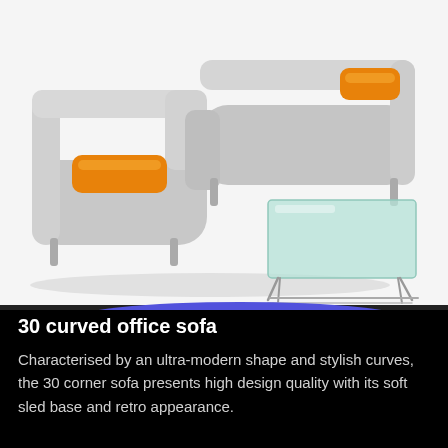[Figure (photo): Two product photos of office sofas. Top image: a light gray modular corner sofa with orange accent cushions, shown with a mint/teal glass coffee table on metal legs. Bottom image: a bold blue curved office sofa (the '30 curved office sofa') with smooth rounded forms and silver sled base legs.]
30 curved office sofa
Characterised by an ultra-modern shape and stylish curves, the 30 corner sofa presents high design quality with its soft sled base and retro appearance.